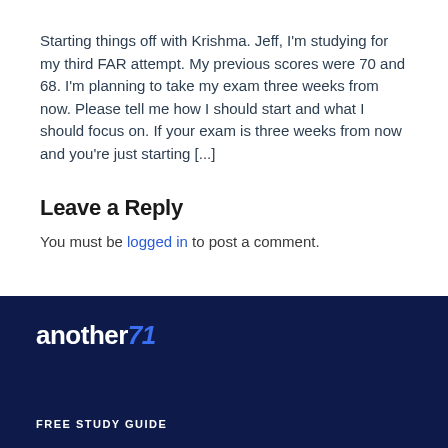Starting things off with Krishma. Jeff, I'm studying for my third FAR attempt. My previous scores were 70 and 68. I'm planning to take my exam three weeks from now. Please tell me how I should start and what I should focus on. If your exam is three weeks from now and you're just starting [...]
Leave a Reply
You must be logged in to post a comment.
[Figure (logo): another71 logo and FREE STUDY GUIDE text on dark navy background]